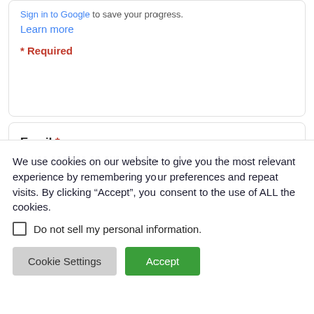Sign in to Google to save your progress. Learn more
* Required
Email *
Your email
We use cookies on our website to give you the most relevant experience by remembering your preferences and repeat visits. By clicking “Accept”, you consent to the use of ALL the cookies.
Do not sell my personal information.
Cookie Settings
Accept